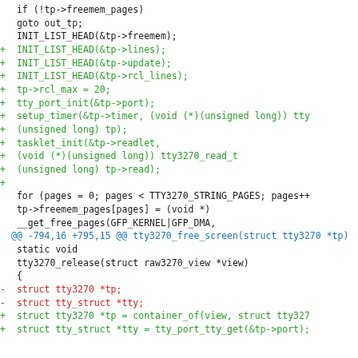[Figure (screenshot): Code diff showing a patch to tty3270 kernel driver code. Lines with + are additions in green, lines with - are removals in red, context lines in black, and diff hunk headers in blue.]